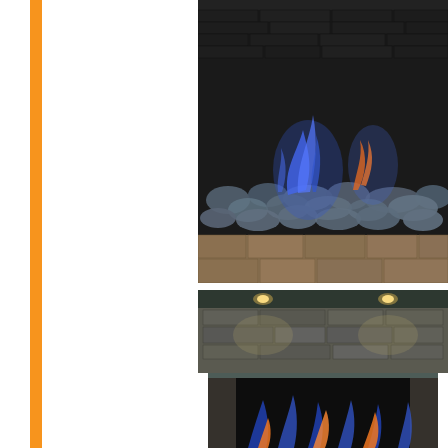[Figure (photo): Top photo: A gas fireplace with blue and orange flames burning over reflective glass fire media/stones in a dark-walled fireplace surround with a stone hearth ledge.]
[Figure (photo): Bottom photo: An outdoor gas fireplace with stone surround, recessed spotlights above, glass front panel, and orange and blue flames burning at the base.]